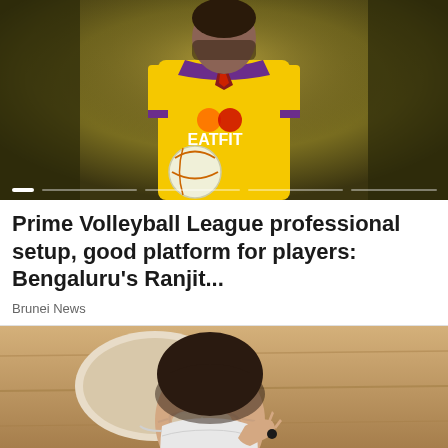[Figure (photo): A volleyball player wearing a yellow jersey with 'EATFIT' sponsor logo and purple trim, holding a volleyball, photographed against a dark golden/olive background. Image carousel with slider dots visible at bottom.]
Prime Volleyball League professional setup, good platform for players: Bengaluru's Ranjit...
Brunei News
[Figure (photo): A man in a navy blue suit wearing glasses and a white face mask, seated at a desk with a laptop, in a room with wooden paneling in the background.]